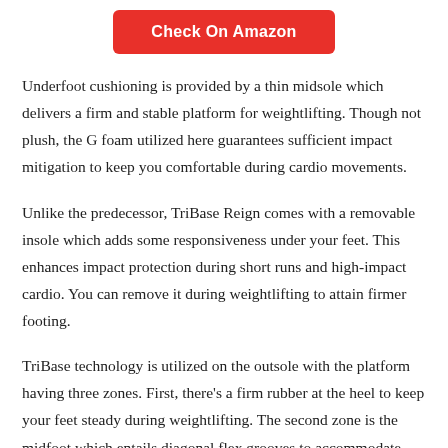[Figure (other): Red 'Check On Amazon' button]
Underfoot cushioning is provided by a thin midsole which delivers a firm and stable platform for weightlifting. Though not plush, the G foam utilized here guarantees sufficient impact mitigation to keep you comfortable during cardio movements.
Unlike the predecessor, TriBase Reign comes with a removable insole which adds some responsiveness under your feet. This enhances impact protection during short runs and high-impact cardio. You can remove it during weightlifting to attain firmer footing.
TriBase technology is utilized on the outsole with the platform having three zones. First, there's a firm rubber at the heel to keep your feet steady during weightlifting. The second zone is the midfoot which entails diagonal flex grooves to accommodate lateral